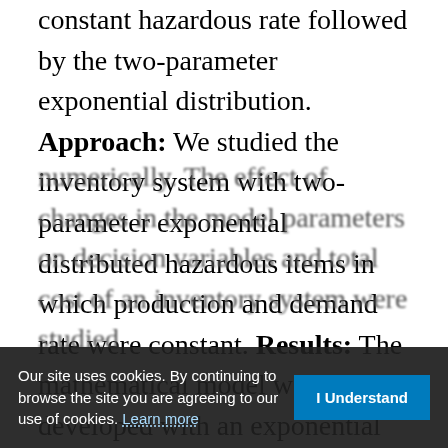constant hazardous rate followed by the two-parameter exponential distribution. Approach: We studied the inventory system with two-parameter exponential distributed hazardous items in which production and demand rate were constant. Results: The mathematical model was developed with an exponential distribution hazardous item to obtain the total cost per unit time of an inventory system. It was illustrated with the help of numerical example. The inventory controlled systems in terms of first order differential equations were solved numerically. The effect of changes in the model parameters on decision variables and total cost of an inventory system were studied
Our site uses cookies. By continuing to browse the site you are agreeing to our use of cookies. Learn more  |  I Understand